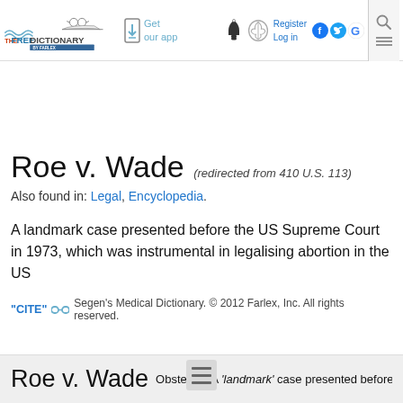TheFreeDictionary by Farlex — Get our app — Register Log in
Roe v. Wade (redirected from 410 U.S. 113)
Also found in: Legal, Encyclopedia.
A landmark case presented before the US Supreme Court in 1973, which was instrumental in legalising abortion in the US
"CITE" Segen's Medical Dictionary. © 2012 Farlex, Inc. All rights reserved.
Roe v. Wade Obstetrics A 'landmark' case presented before the